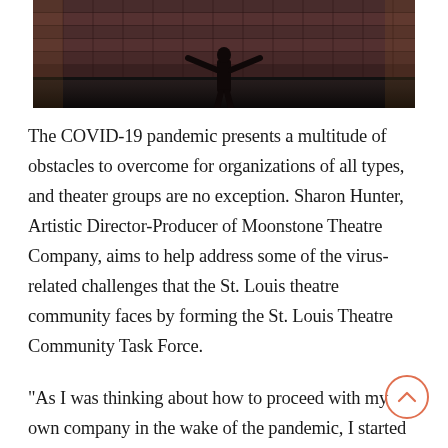[Figure (photo): A person standing in a theater with arms raised wide, facing rows of dark red/maroon theater seats in the background.]
The COVID-19 pandemic presents a multitude of obstacles to overcome for organizations of all types, and theater groups are no exception. Sharon Hunter, Artistic Director-Producer of Moonstone Theatre Company, aims to help address some of the virus-related challenges that the St. Louis theatre community faces by forming the St. Louis Theatre Community Task Force.
“As I was thinking about how to proceed with my own company in the wake of the pandemic, I started thinking it would be helpful  to get a lot of the theaters to sit down via Zoom and discuss concerns, ideas and solutions for moving forward as we